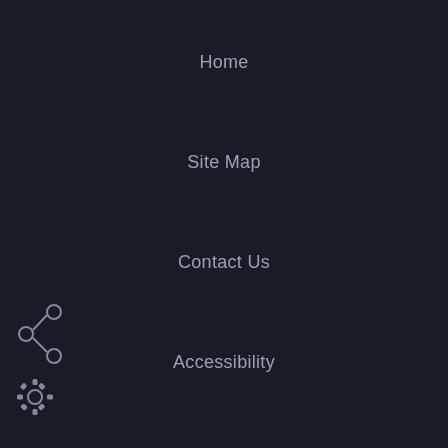Home
Site Map
Contact Us
Accessibility
Copyright Notices
Privacy Policy
Government Websites by CivicPlus®
[Figure (infographic): Share icon and settings/gear icon in grey at bottom left corner]